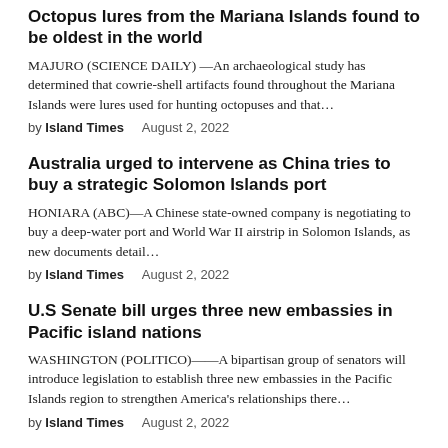Octopus lures from the Mariana Islands found to be oldest in the world
MAJURO (SCIENCE DAILY) —An archaeological study has determined that cowrie-shell artifacts found throughout the Mariana Islands were lures used for hunting octopuses and that…
by Island Times    August 2, 2022
Australia urged to intervene as China tries to buy a strategic Solomon Islands port
HONIARA (ABC)—A Chinese state-owned company is negotiating to buy a deep-water port and World War II airstrip in Solomon Islands, as new documents detail…
by Island Times    August 2, 2022
U.S Senate bill urges three new embassies in Pacific island nations
WASHINGTON (POLITICO)——A bipartisan group of senators will introduce legislation to establish three new embassies in the Pacific Islands region to strengthen America's relationships there…
by Island Times    August 2, 2022
Suspected monkeypox case on Guam; none in CNMI